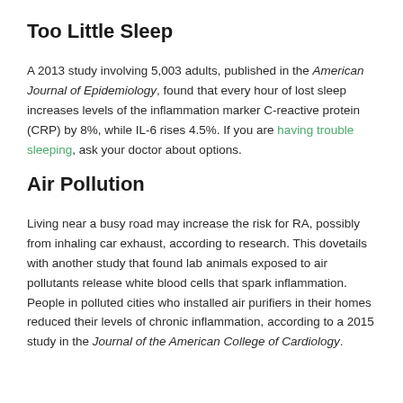Too Little Sleep
A 2013 study involving 5,003 adults, published in the American Journal of Epidemiology, found that every hour of lost sleep increases levels of the inflammation marker C-reactive protein (CRP) by 8%, while IL-6 rises 4.5%. If you are having trouble sleeping, ask your doctor about options.
Air Pollution
Living near a busy road may increase the risk for RA, possibly from inhaling car exhaust, according to research. This dovetails with another study that found lab animals exposed to air pollutants release white blood cells that spark inflammation. People in polluted cities who installed air purifiers in their homes reduced their levels of chronic inflammation, according to a 2015 study in the Journal of the American College of Cardiology.